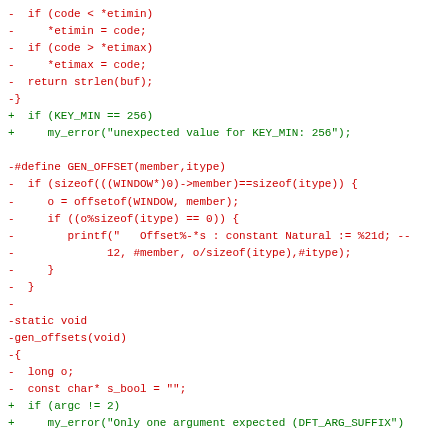Code diff showing removed (red) and added (green) lines of C source code involving etimin/etimax checks, GEN_OFFSET macro, gen_offsets function, and KEY_MIN/argc checks.